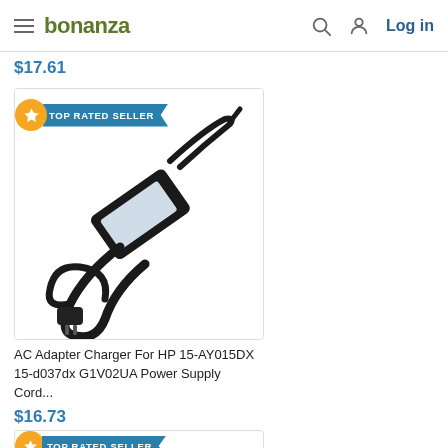bonanza  Log in
$17.61
[Figure (photo): AC adapter/charger product photo showing a black power brick with cable and plug, with a TOP RATED SELLER badge overlay]
AC Adapter Charger For HP 15-AY015DX 15-d037dx G1V02UA Power Supply Cord...
$16.73
[Figure (photo): Second product card with TOP RATED SELLER badge, partially visible at bottom of page]